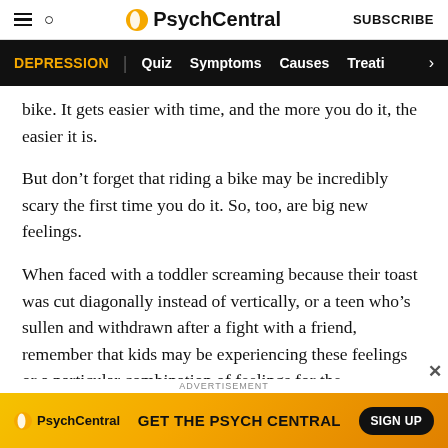PsychCentral | SUBSCRIBE
DEPRESSION | Quiz | Symptoms | Causes | Treati
bike. It gets easier with time, and the more you do it, the easier it is.
But don't forget that riding a bike may be incredibly scary the first time you do it. So, too, are big new feelings.
When faced with a toddler screaming because their toast was cut diagonally instead of vertically, or a teen who's sullen and withdrawn after a fight with a friend, remember that kids may be experiencing these feelings or a particular combination of feelings for the
[Figure (screenshot): PsychCentral advertisement banner: GET THE PSYCH CENTRAL with SIGN UP button on golden/orange gradient background]